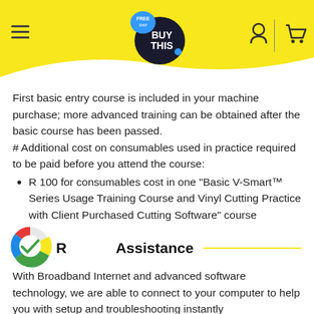[Figure (logo): BuyThis website header with yellow background, hamburger menu icon on left, 'FREE / BUY THIS' logo in center, user and cart icons on right]
First basic entry course is included in your machine purchase; more advanced training can be obtained after the basic course has been passed.
# Additional cost on consumables used in practice required to be paid before you attend the course:
R 100 for consumables cost in one "Basic V-Smart™ Series Usage Training Course and Vinyl Cutting Practice with Client Purchased Cutting Software" course
Remote Assistance
With Broadband Internet and advanced software technology, we are able to connect to your computer to help you with setup and troubleshooting instantly